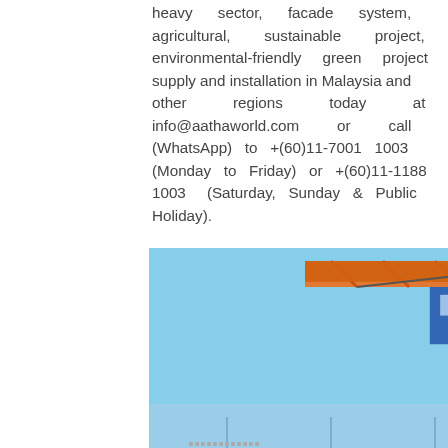heavy sector, facade system, agricultural, sustainable project, environmental-friendly green project supply and installation in Malaysia and other regions today at info@aathaworld.com or call (WhatsApp) to +(60)11-7001 1003 (Monday to Friday) or +(60)11-1188 1003 (Saturday, Sunday & Public Holiday).
[Figure (photo): A construction tower crane photographed against a blue sky background, overlaid on architectural blueprints/plans. The crane is orange and black in color, appearing to be at a construction site. A scroll-to-top navigation button is visible in the bottom right corner of the image.]